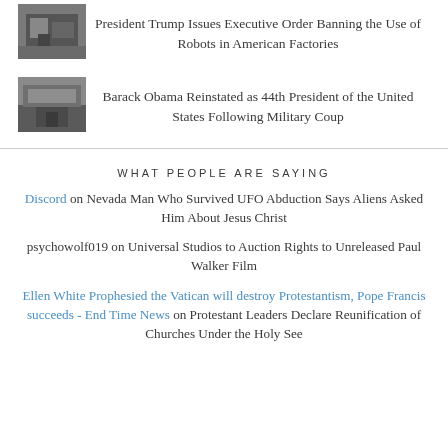[Figure (photo): Small thumbnail photo of a factory or industrial scene]
President Trump Issues Executive Order Banning the Use of Robots in American Factories
[Figure (photo): Small thumbnail photo of a stadium or large building]
Barack Obama Reinstated as 44th President of the United States Following Military Coup
WHAT PEOPLE ARE SAYING
Discord on Nevada Man Who Survived UFO Abduction Says Aliens Asked Him About Jesus Christ
psychowolf019 on Universal Studios to Auction Rights to Unreleased Paul Walker Film
Ellen White Prophesied the Vatican will destroy Protestantism, Pope Francis succeeds - End Time News on Protestant Leaders Declare Reunification of Churches Under the Holy See